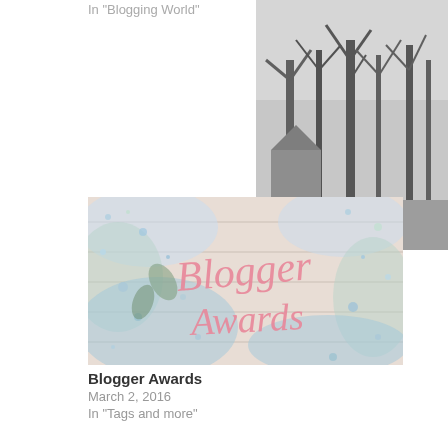In "Blogging World"
[Figure (photo): Black and white photo of trees in winter, partially cropped on right side]
Goodbye Blogt
October 29, 20
In "Blogging W"
[Figure (photo): Blogger Awards image showing glitter and confetti on a wooden background with pink cursive text reading 'Blogger Awards']
Blogger Awards
March 2, 2016
In "Tags and more"